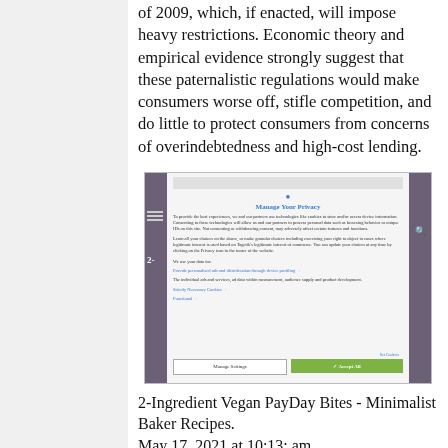of 2009, which, if enacted, will impose heavy restrictions. Economic theory and empirical evidence strongly suggest that these paternalistic regulations would make consumers worse off, stifle competition, and do little to protect consumers from concerns of overindebtedness and high-cost lending.
[Figure (screenshot): A screenshot of a 'Manage Your Privacy' cookie consent dialog on a webpage, with options to 'Manage Settings' or 'Accept All'. The page appears to be a recipe website with a purple sidebar navigation element.]
2-Ingredient Vegan PayDay Bites - Minimalist Baker Recipes.
May 17, 2021 at 10:13: am.
Another one of your recipes that I